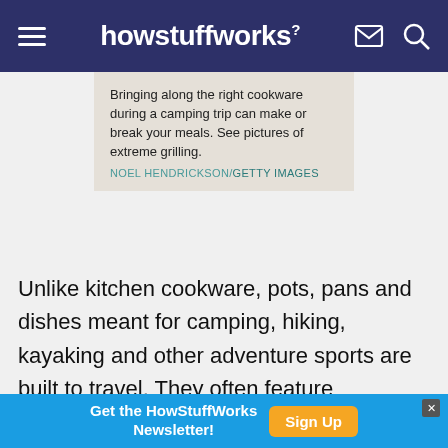howstuffworks
Bringing along the right cookware during a camping trip can make or break your meals. See pictures of extreme grilling.
NOEL HENDRICKSON/GETTY IMAGES
Unlike kitchen cookware, pots, pans and dishes meant for camping, hiking, kayaking and other adventure sports are built to travel. They often feature lightweight materials and multifunction parts; they can also come with insulated, fold-away handles or removable handles for carrying hot pots. Ideally, they're compact, easy to carry and clean
[Figure (infographic): Ad banner: Get the HowStuffWorks Newsletter! Sign Up button]